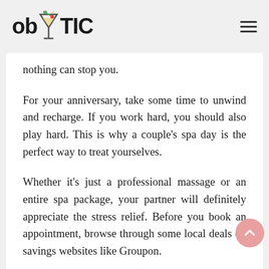ob TIC
nothing can stop you.
For your anniversary, take some time to unwind and recharge. If you work hard, you should also play hard. This is why a couple’s spa day is the perfect way to treat yourselves.
Whether it’s just a professional massage or an entire spa package, your partner will definitely appreciate the stress relief. Before you book an appointment, browse through some local deals on savings websites like Groupon.
10. Create Your Own Spa at